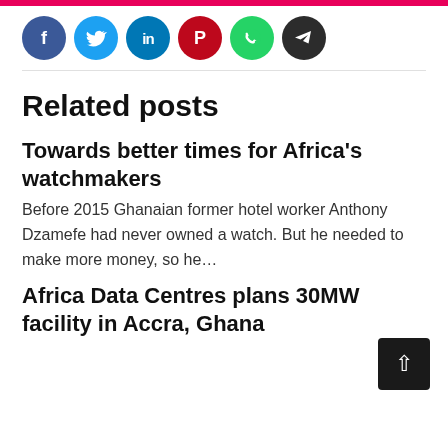[Figure (other): Row of social media share buttons: Facebook (blue circle with f), Twitter (light blue circle with bird icon), LinkedIn (blue circle with in), Pinterest (red circle with P), WhatsApp (green circle with phone icon), Telegram (dark circle with arrow icon)]
Related posts
Towards better times for Africa's watchmakers
Before 2015 Ghanaian former hotel worker Anthony Dzamefe had never owned a watch. But he needed to make more money, so he…
Africa Data Centres plans 30MW facility in Accra, Ghana